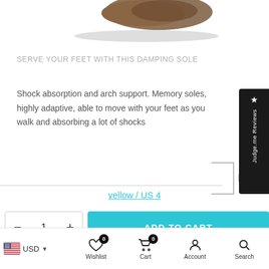[Figure (photo): Bottom portion of a brown shoe with shadow visible at top of page]
SERVE YOUR FEET WITH THIS DAMPING SOLE
Shock absorption and arch support. Memory soles, highly adaptive, able to move with your feet as you walk and absorbing a lot of shocks
yellow / US 4
- 1 + ADD TO CART
USD  Wishlist 0  Cart 0  Account  Search